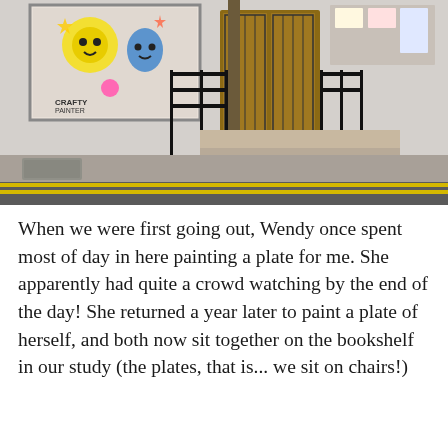[Figure (photo): Street-level photograph of a building exterior with painted window displays featuring colorful cartoon characters (Mr. Men style), black metal railings, wooden doors with security grilles, a utility pole, and a road with double yellow lines in the foreground. The building appears to be a pottery or craft shop.]
When we were first going out, Wendy once spent most of day in here painting a plate for me. She apparently had quite a crowd watching by the end of the day! She returned a year later to paint a plate of herself, and both now sit together on the bookshelf in our study (the plates, that is... we sit on chairs!)